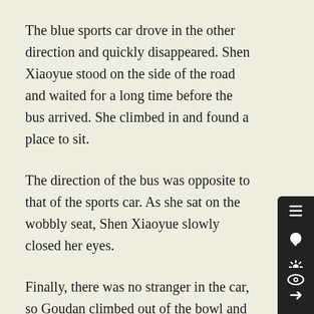The blue sports car drove in the other direction and quickly disappeared. Shen Xiaoyue stood on the side of the road and waited for a long time before the bus arrived. She climbed in and found a place to sit.
The direction of the bus was opposite to that of the sports car. As she sat on the wobbly seat, Shen Xiaoyue slowly closed her eyes.
Finally, there was no stranger in the car, so Goudan climbed out of the bowl and laid down by the window, basking his belly in the sun.
"Susu, are you not afraid that Shen Xiaoyue had lied to you. All of this is based on her speculation. What if Shi Chong is not that guilty?" After a prolonged silence, Gou Dan suddenly rolled
[Figure (other): Dark sidebar panel with icons: list/menu, comment bubble, settings gear, right arrow, left arrow, up arrow]
[Figure (other): Dark sidebar button with eye/visibility icon]